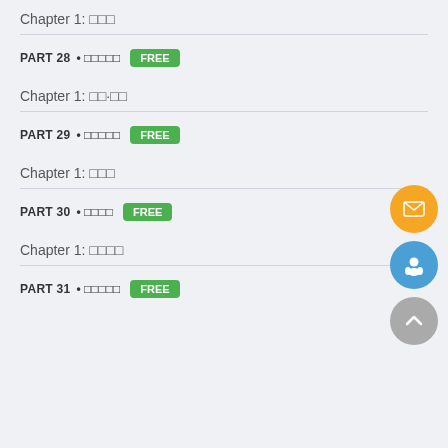Chapter 1: □□□
PART 28 • □□□□□  FREE
Chapter 1: □□·□□
PART 29 • □□□□□  FREE
Chapter 1: □□□
PART 30 • □□□□  FREE
Chapter 1: □□□□
PART 31 • □□□□□  FREE